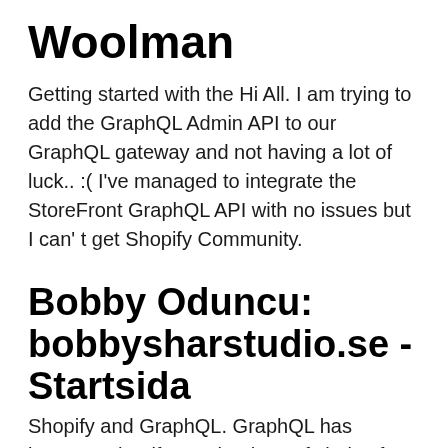Woolman
Getting started with the Hi All. I am trying to add the GraphQL Admin API to our GraphQL gateway and not having a lot of luck.. :( I've managed to integrate the StoreFront GraphQL API with no issues but I can' t get Shopify Community.
Bobby Oduncu: bobbysharstudio.se - Startsida
Shopify and GraphQL. GraphQL has become Shopify's technology of choice for building APIs. If you're used to working with REST APIs, then GraphQL might seem confusing at first. When you begin using GraphQL, you need to change how you think about retrieving and working with data. The